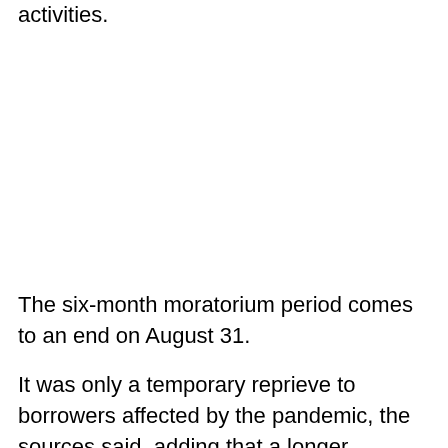activities.
The six-month moratorium period comes to an end on August 31.
It was only a temporary reprieve to borrowers affected by the pandemic, the sources said, adding that a longer